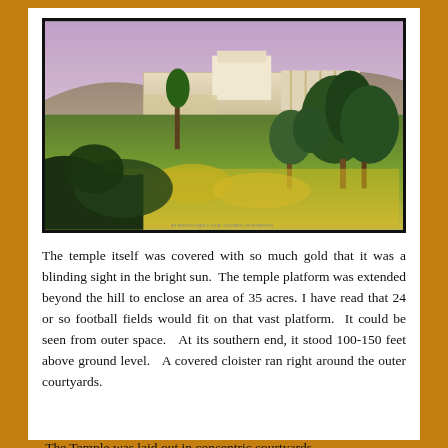[Figure (illustration): A painted illustration showing a view of the ancient Jerusalem Temple (Herod's Temple) from across a garden with olive trees in the foreground. The temple complex shows large white walls and buildings on a hilltop, with a purple-pink sky in the background.]
The temple itself was covered with so much gold that it was a blinding sight in the bright sun. The temple platform was extended beyond the hill to enclose an area of 35 acres. I have read that 24 or so football fields would fit on that vast platform. It could be seen from outer space. At its southern end, it stood 100-150 feet above ground level. A covered cloister ran right around the outer courtyards.
The Temple was laid out in concentric courtyards.